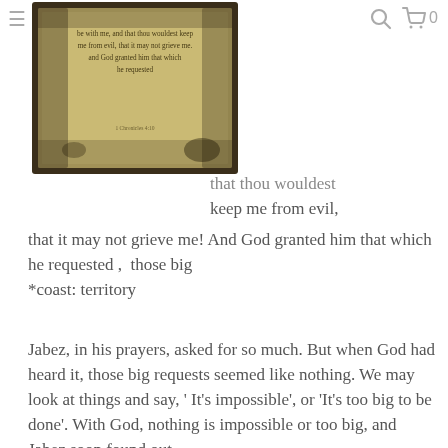≡  [search icon] [cart icon] 0
[Figure (photo): Antique parchment with text: 'be with me, and that thou wouldest keep me from evil, that it may not grieve me. and God granted him that which he requested']
that thou wouldest keep me from evil, that it may not grieve me! And God granted him that which he requested ,  those big
*coast: territory
Jabez, in his prayers, asked for so much. But when God had heard it, those big requests seemed like nothing. We may look at things and say, ' It's impossible', or 'It's too big to be done'. With God, nothing is impossible or too big, and Jabez soon found out.
In this prayer, Jabez asked for four things...